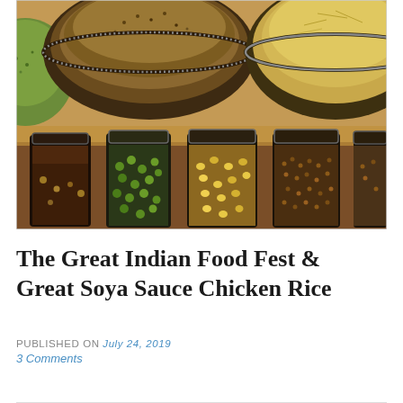[Figure (photo): Overhead photo of colorful Indian spices and legumes in large round bowls (mung seeds, coriander, yellow lentils, noodles) in the upper half, and glass jars filled with various grains, green peas, corn, and mustard seeds in the lower half, set against a market stall background.]
The Great Indian Food Fest & Great Soya Sauce Chicken Rice
PUBLISHED ON July 24, 2019
3 Comments